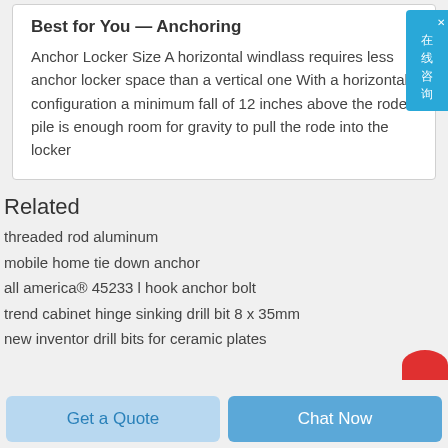Best for You — Anchoring
Anchor Locker Size A horizontal windlass requires less anchor locker space than a vertical one With a horizontal configuration a minimum fall of 12 inches above the rode pile is enough room for gravity to pull the rode into the locker
Related
threaded rod aluminum
mobile home tie down anchor
all america&#174; 45233 l hook anchor bolt
trend cabinet hinge sinking drill bit 8 x 35mm
new inventor drill bits for ceramic plates